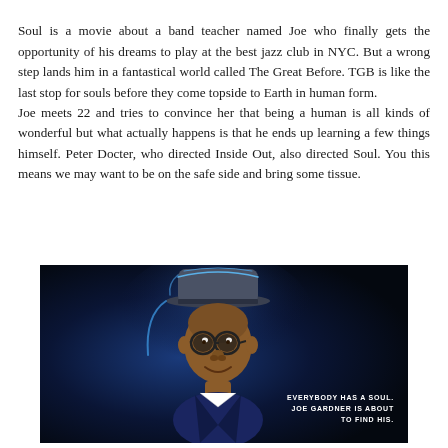Soul is a movie about a band teacher named Joe who finally gets the opportunity of his dreams to play at the best jazz club in NYC. But a wrong step lands him in a fantastical world called The Great Before. TGB is like the last stop for souls before they come topside to Earth in human form. Joe meets 22 and tries to convince her that being a human is all kinds of wonderful but what actually happens is that he ends up learning a few things himself. Peter Docter, who directed Inside Out, also directed Soul. You this means we may want to be on the safe side and bring some tissue.
[Figure (illustration): Movie poster for Pixar's Soul showing the animated character Joe Gardner (a Black man with glasses and a blue-glowing fedora hat) against a dark blue background. Text in the lower right reads: EVERYBODY HAS A SOUL. JOE GARDNER IS ABOUT TO FIND HIS.]